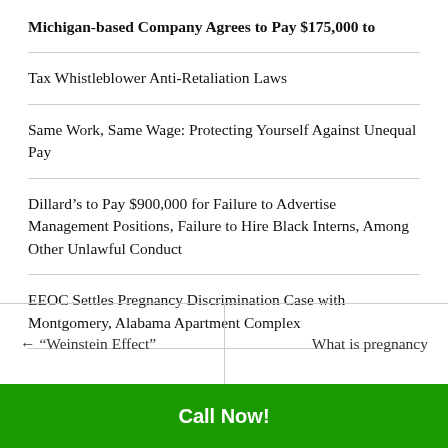Michigan-based Company Agrees to Pay $175,000 to
Tax Whistleblower Anti-Retaliation Laws
Same Work, Same Wage: Protecting Yourself Against Unequal Pay
Dillard’s to Pay $900,000 for Failure to Advertise Management Positions, Failure to Hire Black Interns, Among Other Unlawful Conduct
EEOC Settles Pregnancy Discrimination Case with Montgomery, Alabama Apartment Complex
← “Weinstein Effect”    What is pregnancy
Call Now!